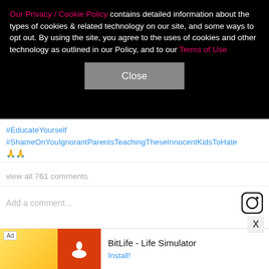Our Privacy / Cookie Policy contains detailed information about the types of cookies & related technology on our site, and some ways to opt out. By using the site, you agree to the uses of cookies and other technology as outlined in our Policy, and to our Terms of Use
Close
#EducateYourself #ShameOnYouIgnorantParentsTeachingTheseInnocentKidsToHate 🙏🙏
view all 761 comments
Add a comment...
Nadya says she was "both cyber and physically stoned" by society back in 2009, recalling rocks being thrown at her house and car.
Ad BitLife - Life Simulator Install!